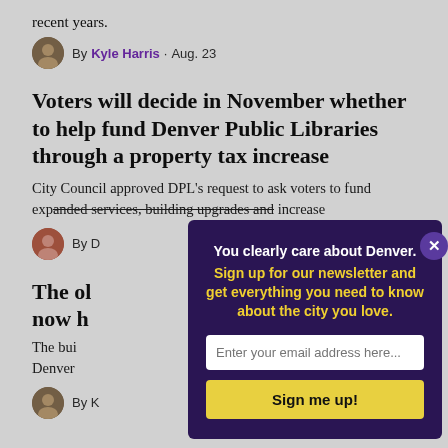recent years.
By Kyle Harris · Aug. 23
Voters will decide in November whether to help fund Denver Public Libraries through a property tax increase
City Council approved DPL's request to ask voters to fund expanded services, building upgrades and increase
By D
The ol now h
The bui Denver
By K
[Figure (screenshot): Newsletter signup modal overlay on top of article page. Dark purple background with text: 'You clearly care about Denver. Sign up for our newsletter and get everything you need to know about the city you love.' Email input field and 'Sign me up!' yellow button.]